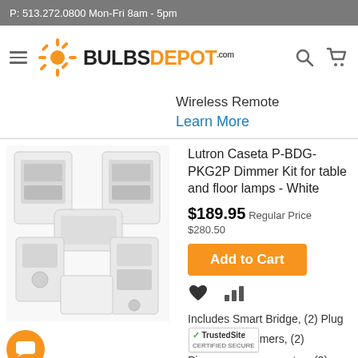P: 513.272.0800 Mon-Fri 8am - 5pm
[Figure (logo): BulbsDepot.com logo with orange sunburst icon and hamburger menu; search and cart icons on right]
Wireless Remote
Learn More
[Figure (photo): Lutron Caseta P-BDG-PKG2P Dimmer Kit product photo showing smart bridge, plug-in dimmers, and Pico remotes in white]
Lutron Caseta P-BDG-PKG2P Dimmer Kit for table and floor lamps - White
$189.95 Regular Price $280.50
Add to Cart
Includes Smart Bridge, (2) Plug-in Dimmers, (2) Pico Remotes, (2)